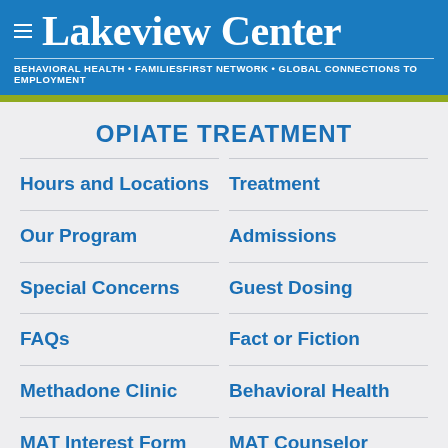Lakeview Center — BEHAVIORAL HEALTH • FAMILIESFIRST NETWORK • GLOBAL CONNECTIONS TO EMPLOYMENT
OPIATE TREATMENT
Hours and Locations
Treatment
Our Program
Admissions
Special Concerns
Guest Dosing
FAQs
Fact or Fiction
Methadone Clinic
Behavioral Health
MAT Interest Form
MAT Counselor Request